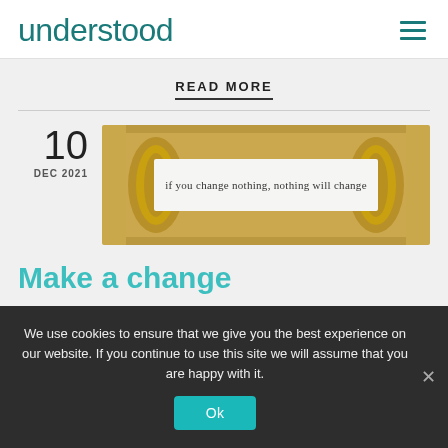understood
READ MORE
10
DEC 2021
[Figure (illustration): A rolled-up parchment scroll on a golden/tan background revealing the text: 'if you change nothing, nothing will change']
Make a change
We use cookies to ensure that we give you the best experience on our website. If you continue to use this site we will assume that you are happy with it.